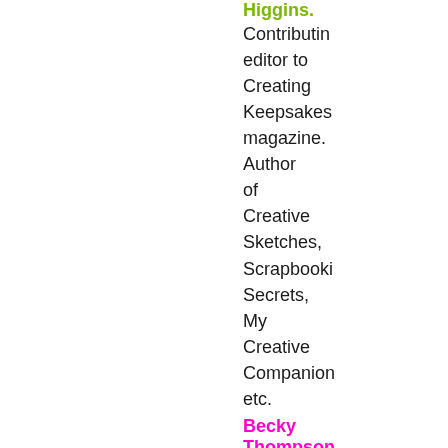Higgins. Contributing editor to Creating Keepsakes magazine. Author of Creative Sketches, Scrapbooking Secrets, My Creative Companion, etc.
Becky Thompson
Instructor for Big Picture Scrapbooking design team